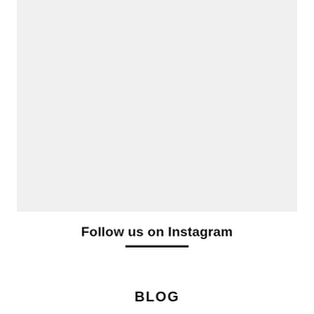[Figure (photo): Large light gray placeholder image occupying the top portion of the page]
Follow us on Instagram
BLOG